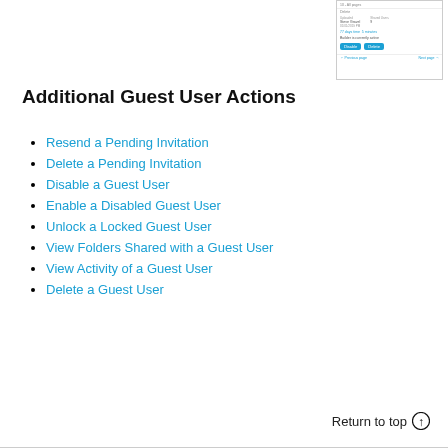[Figure (screenshot): UI mockup showing a guest user detail panel with buttons (Disable, Delete) and navigation links (Previous page, Next page)]
Additional Guest User Actions
Resend a Pending Invitation
Delete a Pending Invitation
Disable a Guest User
Enable a Disabled Guest User
Unlock a Locked Guest User
View Folders Shared with a Guest User
View Activity of a Guest User
Delete a Guest User
Return to top ↑